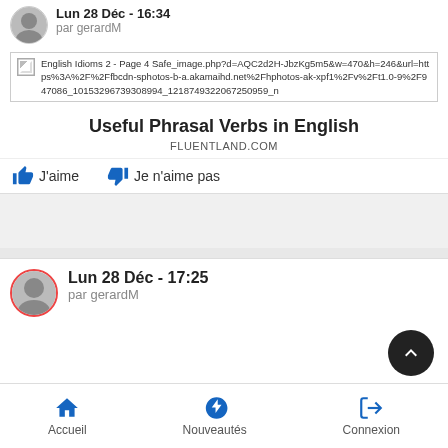Lun 28 Déc - 16:34
par gerardM
[Figure (screenshot): Broken image link for English Idioms 2 - Page 4 Safe_image.php?d=AQC2d2H-JbzKg5m5&w=470&h=246&url=https%3A%2F%2Ffbcdn-sphotos-b-a.akamaihd.net%2Fhphotos-ak-xpf1%2Fv%2Ft1.0-9%2F947086_10153296739308994_1218749322067250959_n]
Useful Phrasal Verbs in English
FLUENTLAND.COM
J'aime   Je n'aime pas
Lun 28 Déc - 17:25
par gerardM
Accueil   Nouveautés   Connexion